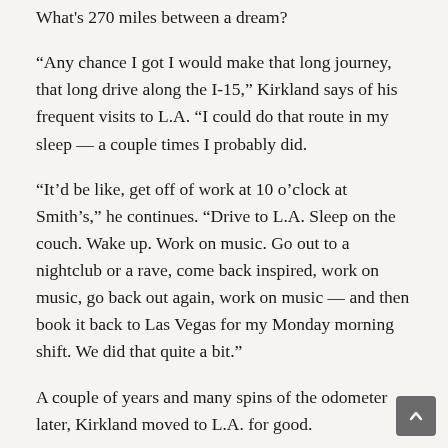What's 270 miles between a dream?
“Any chance I got I would make that long journey, that long drive along the I-15,” Kirkland says of his frequent visits to L.A. “I could do that route in my sleep — a couple times I probably did.
“It’d be like, get off of work at 10 o’clock at Smith’s,” he continues. “Drive to L.A. Sleep on the couch. Wake up. Work on music. Go out to a nightclub or a rave, come back inspired, work on music, go back out again, work on music — and then book it back to Las Vegas for my Monday morning shift. We did that quite a bit.”
A couple of years and many spins of the odometer later, Kirkland moved to L.A. for good.
Initially, the two envisioned themselves as a production duo — think of a white Jimmy Jam and Terry Lewis, as they like to say — making music for other acts.
But then they caught a gig by British electronica duo Orbital at L.A.’s Shrine Auditorium.